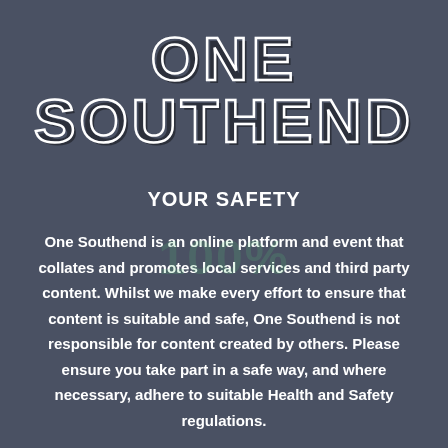ONE SOUTHEND
YOUR SAFETY
One Southend is an online platform and event that collates and promotes local services and third party content. Whilst we make every effort to ensure that content is suitable and safe, One Southend is not responsible for content created by others. Please ensure you take part in a safe way, and where necessary, adhere to suitable Health and Safety regulations.
Privacy Policy | Accessibility Statement